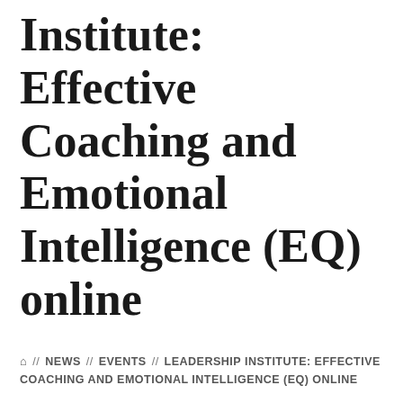Institute: Effective Coaching and Emotional Intelligence (EQ) online
⌂ // NEWS // EVENTS // LEADERSHIP INSTITUTE: EFFECTIVE COACHING AND EMOTIONAL INTELLIGENCE (EQ) ONLINE